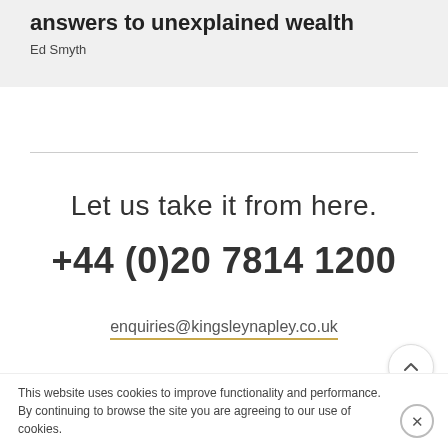answers to unexplained wealth
Ed Smyth
Let us take it from here.
+44 (0)20 7814 1200
enquiries@kingsleynapley.co.uk
This website uses cookies to improve functionality and performance. By continuing to browse the site you are agreeing to our use of cookies.